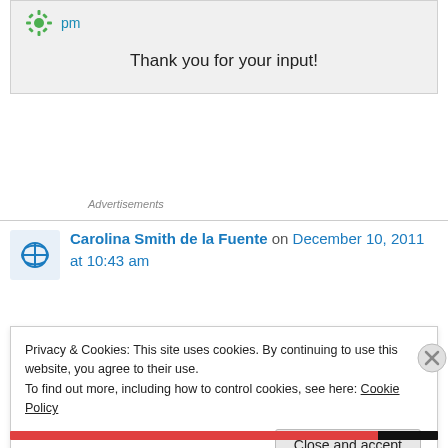pm
Thank you for your input!
Advertisements
Carolina Smith de la Fuente on December 10, 2011 at 10:43 am
Privacy & Cookies: This site uses cookies. By continuing to use this website, you agree to their use.
To find out more, including how to control cookies, see here: Cookie Policy
Close and accept